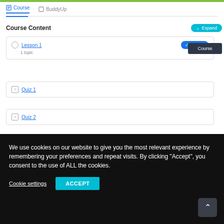[Figure (screenshot): Course content UI with tabs (Course, BuddyUp), Course Content section with Lesson 1, Quiz 1, Quiz 2 items, and a dark cookie consent banner at the bottom.]
Course
BuddyUp
Course Content
Lesson 1
1 topic
Expand
Quiz 1
Quiz 2
We use cookies on our website to give you the most relevant experience by remembering your preferences and repeat visits. By clicking "Accept", you consent to the use of ALL the cookies.
Cookie settings
ACCEPT